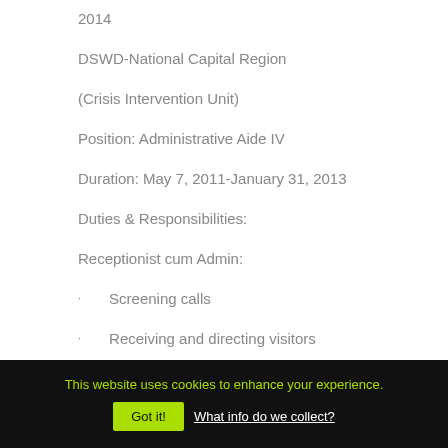2014
DSWD-National Capital Region
(Crisis Intervention Unit)
Position: Administrative Aide IV
Duration: May 7, 2011-January 31, 2013
Duties & Responsibilities:
Receptionist cum Admin:
Screening calls
Receiving and directing visitors
This website uses cookies to enhance your experience. Got it! What info do we collect?